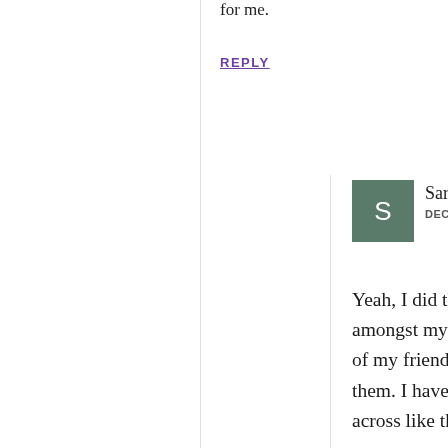for me.
REPLY
Sarah says
DECEMBER 1, 2019 AT 7:16 PM
Yeah, I did think about that. However my SO is unfortunately kind of known amongst my friends to be a bit anti-social and rude, and has been giving a few of my friends (female as well) and family the impression that he doesn't like them. I have a tendency to either explain how he is to others (that he comes across like that and doesn't actually mean it) or to apologize